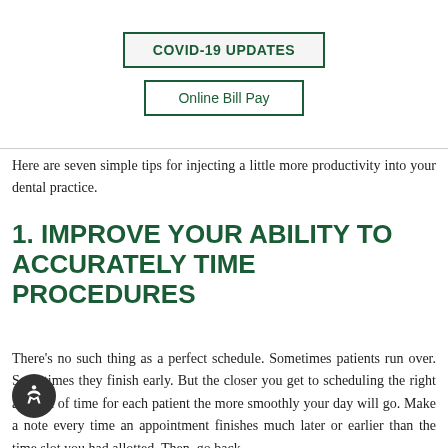Improving efficiency at your practice is an ongoing effort. There's always room for improvement, and every system can use a tweak now and then.
[Figure (other): COVID-19 UPDATES button with green border]
[Figure (other): Online Bill Pay button with green border]
Here are seven simple tips for injecting a little more productivity into your dental practice.
1. IMPROVE YOUR ABILITY TO ACCURATELY TIME PROCEDURES
There's no such thing as a perfect schedule. Sometimes patients run over. Sometimes they finish early. But the closer you get to scheduling the right amount of time for each patient the more smoothly your day will go. Make a note every time an appointment finishes much later or earlier than the time slot you had allotted. Then, go back